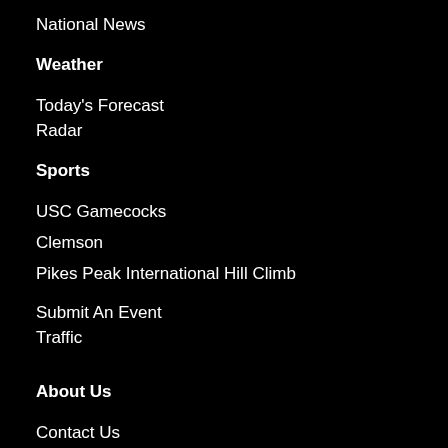National News
Weather
Today's Forecast
Radar
Sports
USC Gamecocks
Clemson
Pikes Peak International Hill Climb
Submit An Event
Traffic
About Us
Contact Us
Our Team
Advertise
Employment